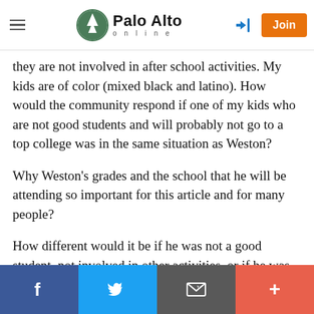Palo Alto online
they are not involved in after school activities. My kids are of color (mixed black and latino). How would the community respond if one of my kids who are not good students and will probably not go to a top college was in the same situation as Weston?
Why Weston's grades and the school that he will be attending so important for this article and for many people?
How different would it be if he was not a good student, not involved in other activities, or if he was not going to a good college? And what if he was black or latino like my
Facebook | Twitter | Email | +